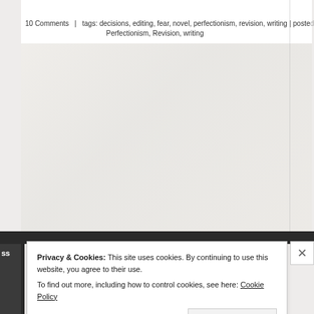10 Comments  |  tags: decisions, editing, fear, novel, perfectionism, revision, writing | posted in: Perfectionism, Revision, writing
[Figure (photo): Faded/washed-out background image, partially visible behind page overlay]
Privacy & Cookies: This site uses cookies. By continuing to use this website, you agree to their use. To find out more, including how to control cookies, see here: Cookie Policy
Close and accept